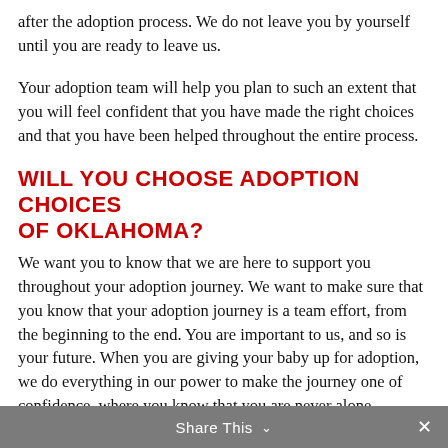after the adoption process. We do not leave you by yourself until you are ready to leave us.
Your adoption team will help you plan to such an extent that you will feel confident that you have made the right choices and that you have been helped throughout the entire process.
WILL YOU CHOOSE ADOPTION CHOICES OF OKLAHOMA?
We want you to know that we are here to support you throughout your adoption journey. We want to make sure that you know that your adoption journey is a team effort, from the beginning to the end. You are important to us, and so is your future. When you are giving your baby up for adoption, we do everything in our power to make the journey one of confidence, where you know that you are never alone
Share This ∨  ✕